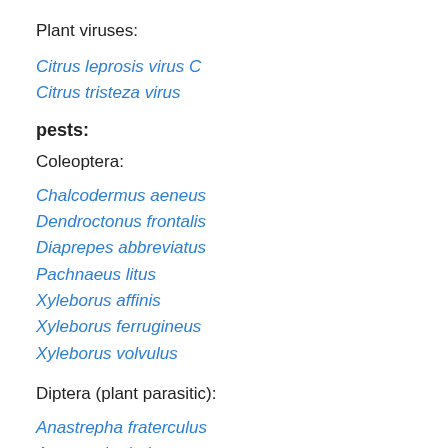Plant viruses:
Citrus leprosis virus C
Citrus tristeza virus
pests:
Coleoptera:
Chalcodermus aeneus
Dendroctonus frontalis
Diaprepes abbreviatus
Pachnaeus litus
Xyleborus affinis
Xyleborus ferrugineus
Xyleborus volvulus
Diptera (plant parasitic):
Anastrepha fraterculus
Anastrepha ludens
Anastrepha obliqua